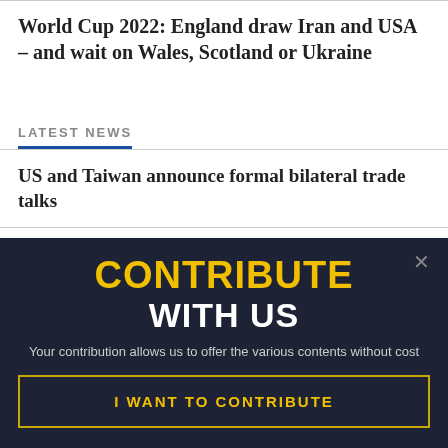World Cup 2022: England draw Iran and USA – and wait on Wales, Scotland or Ukraine
LATEST NEWS
US and Taiwan announce formal bilateral trade talks
CONTRIBUTE WITH US
Your contribution allows us to offer the various contents without cost
I WANT TO CONTRIBUTE